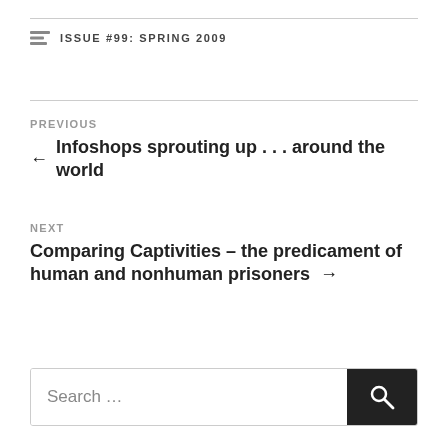ISSUE #99: SPRING 2009
PREVIOUS
← Infoshops sprouting up . . . around the world
NEXT
Comparing Captivities – the predicament of human and nonhuman prisoners →